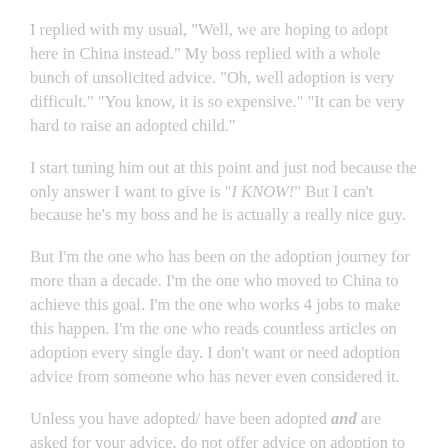I replied with my usual, "Well, we are hoping to adopt here in China instead." My boss replied with a whole bunch of unsolicited advice. "Oh, well adoption is very difficult." "You know, it is so expensive." "It can be very hard to raise an adopted child."
I start tuning him out at this point and just nod because the only answer I want to give is "I KNOW!" But I can't because he's my boss and he is actually a really nice guy.
But I'm the one who has been on the adoption journey for more than a decade. I'm the one who moved to China to achieve this goal. I'm the one who works 4 jobs to make this happen. I'm the one who reads countless articles on adoption every single day. I don't want or need adoption advice from someone who has never even considered it.
Unless you have adopted/ have been adopted and are asked for your advice, do not offer advice on adoption to adoptive families. This goes for people anywhere in the world. Even if